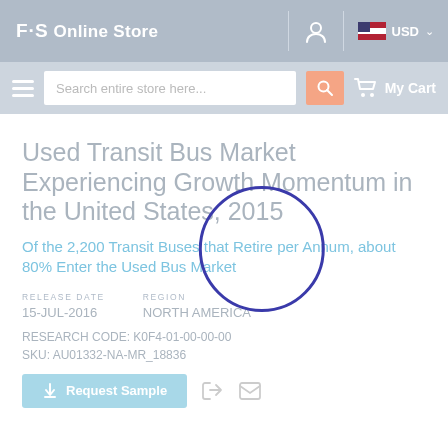F·S Online Store  USD
Search entire store here...  My Cart
Used Transit Bus Market Experiencing Growth Momentum in the United States, 2015
Of the 2,200 Transit Buses that Retire per Annum, about 80% Enter the Used Bus Market
RELEASE DATE
15-JUL-2016
REGION
NORTH AMERICA
RESEARCH CODE: K0F4-01-00-00-00
SKU: AU01332-NA-MR_18836
Request Sample